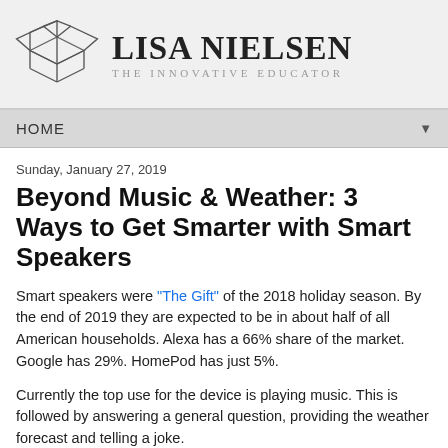LISA NIELSEN THE INNOVATIVE EDUCATOR
HOME
Sunday, January 27, 2019
Beyond Music & Weather: 3 Ways to Get Smarter with Smart Speakers
Smart speakers were "The Gift" of the 2018 holiday season. By the end of 2019 they are expected to be in about half of all American households. Alexa has a 66% share of the market. Google has 29%. HomePod has just 5%.
Currently the top use for the device is playing music. This is followed by answering a general question, providing the weather forecast and telling a joke.